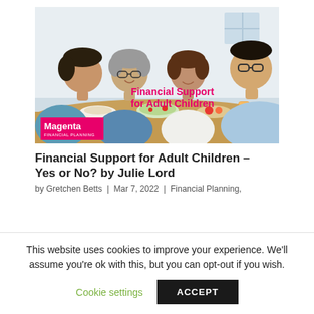[Figure (photo): Photo of a family group laughing and eating together at a table with food, overlaid with pink text 'Financial Support for Adult Children' and a Magenta Financial Planning logo in the bottom-left corner.]
Financial Support for Adult Children – Yes or No? by Julie Lord
by Gretchen Betts | Mar 7, 2022 | Financial Planning,
This website uses cookies to improve your experience. We'll assume you're ok with this, but you can opt-out if you wish.
Cookie settings   ACCEPT